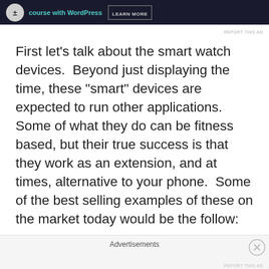[Figure (screenshot): Dark advertisement banner showing a circular icon and text 'course with WordPress' with a 'Learn More' button on dark navy background]
First let’s talk about the smart watch devices.  Beyond just displaying the time, these “smart” devices are expected to run other applications.  Some of what they do can be fitness based, but their true success is that they work as an extension, and at times, alternative to your phone.  Some of the best selling examples of these on the market today would be the follow:
[Figure (screenshot): Bottom advertisement banner area with 'Advertisements' label and a close button (X circle) on the right side]